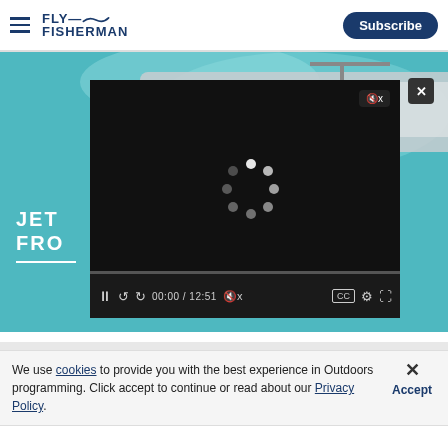FLY FISHERMAN | Subscribe
[Figure (screenshot): Screenshot of Fly Fisherman website showing a video player overlay on top of a teal boat image. The background shows a boat on turquoise water. A dark video player overlay shows a loading spinner and controls showing 00:00 / 12:51. Text visible: JET FRO]
We use cookies to provide you with the best experience in Outdoors programming. Click accept to continue or read about our Privacy Policy.
Advertisement
[Figure (infographic): Advertisement banner: MIRACLE RESCUE: MAN OVERBOARD SURVIVES WITH HELP OF A WHISTLE with LEARN MORE button and sailboat image]